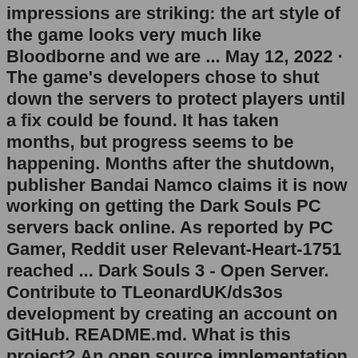impressions are striking: the art style of the game looks very much like Bloodborne and we are ... May 12, 2022 · The game's developers chose to shut down the servers to protect players until a fix could be found. It has taken months, but progress seems to be happening. Months after the shutdown, publisher Bandai Namco claims it is now working on getting the Dark Souls PC servers back online. As reported by PC Gamer, Reddit user Relevant-Heart-1751 reached ... Dark Souls 3 - Open Server. Contribute to TLeonardUK/ds3os development by creating an account on GitHub. README.md. What is this project? An open source implementation of the dark souls 3 game server. Idealistically made for the purpose of allow better alternatives to playing mods than...Jan 23, 2022 · — Dark Souls (@DarkSoulsGame) January 23, 2022. PvP servers for Dark Souls 3, Dark Souls 2, and Dark Souls: Remastered have been temporarily deactivated to allow the team to investigate recent reports of an issue with online services. Servers for Dark Souls: PtDE